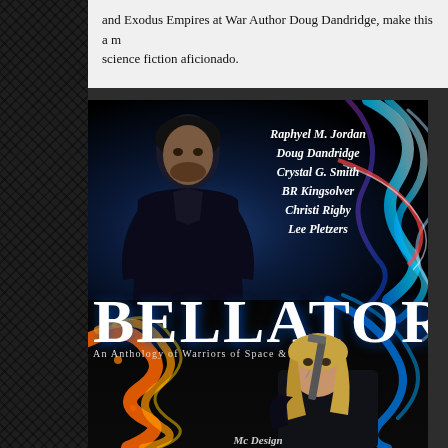and Exodus Empires at War Author Doug Dandridge, make this a m... science fiction aficionado.
[Figure (illustration): Book cover for BELLATOR: An Anthology of Warriors of Space & Magic. Top portion shows a man with dark curly hair in a dark suit against a blue energy/light background. Author names listed in italic white script: Raphyel M. Jordan, Doug Dandridge, Crystal G. Smith, BR Kingsolver, Christi Rigby, Lee Pletzers. Center shows large bold white 'BELLATOR' title with subtitle 'An Anthology of Warriors of Space & Magic'. Bottom portion shows a woman with blonde hair holding a weapon against a dark background with orange/red fire energy swirls. Bottom has 'Mc Design' in italic text.]